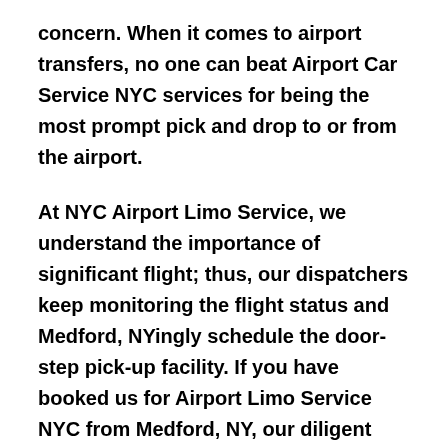concern. When it comes to airport transfers, no one can beat Airport Car Service NYC services for being the most prompt pick and drop to or from the airport.
At NYC Airport Limo Service, we understand the importance of significant flight; thus, our dispatchers keep monitoring the flight status and Medford, NYingly schedule the door-step pick-up facility. If you have booked us for Airport Limo Service NYC from Medford, NY, our diligent and knowledgeable driver, make sure to pick the shortest route possible for your convenient and timely transit.
The highly skilled and talented chauffeur of luxury...